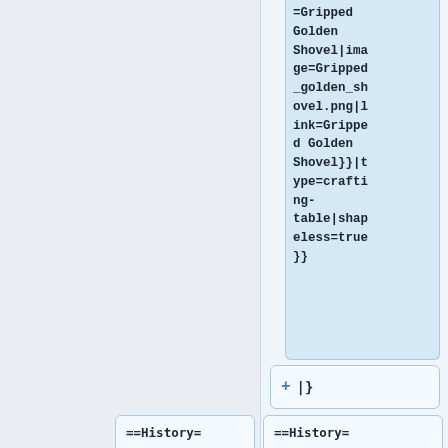=Gripped Golden Shovel|image=Gripped_golden_shovel.png|link=Gripped Golden Shovel}}|type=crafting-table|shapeless=true}}
+ |}
==History==
==History==
==Gallery==
==Gallery==